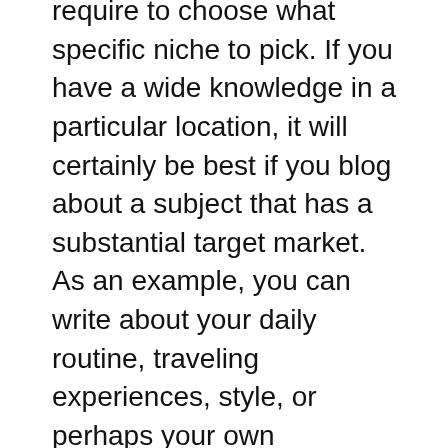require to choose what specific niche to pick. If you have a wide knowledge in a particular location, it will certainly be best if you blog about a subject that has a substantial target market. As an example, you can write about your daily routine, traveling experiences, style, or perhaps your own pastimes. Your objective is to be an authority on a particular subject, as well as the even more information you can provide to visitors, the much better.
Actually, a blog can have several objectives. Among them is to produce online search engine website traffic. The more individuals visit your blog site, the more opportunities you have to make money or advertise your business. Thankfully,